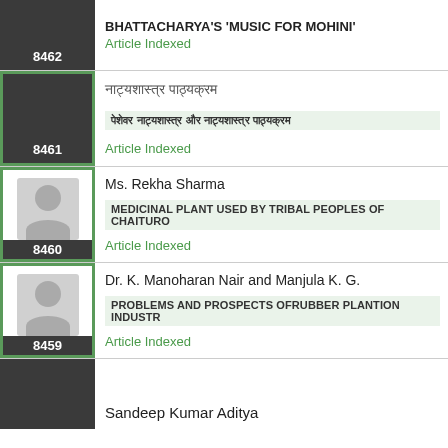8462 | BHATTACHARYA'S 'MUSIC FOR MOHINI' | Article Indexed
8461 | [Devanagari text] | Article Indexed
8460 | Ms. Rekha Sharma | MEDICINAL PLANT USED BY TRIBAL PEOPLES OF CHAITURO | Article Indexed
8459 | Dr. K. Manoharan Nair and Manjula K. G. | PROBLEMS AND PROSPECTS OFRUBBER PLANTION INDUSTR | Article Indexed
8472 | Sandeep Kumar Aditya